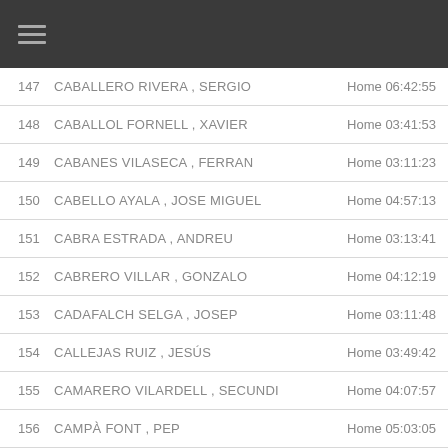Menu
| # | Name | Category Time |
| --- | --- | --- |
| 147 | CABALLERO RIVERA , SERGIO | Home 06:42:55 |
| 148 | CABALLOL FORNELL , XAVIER | Home 03:41:53 |
| 149 | CABANES VILASECA , FERRAN | Home 03:11:23 |
| 150 | CABELLO AYALA , JOSE MIGUEL | Home 04:57:13 |
| 151 | CABRA ESTRADA , ANDREU | Home 03:13:41 |
| 152 | CABRERO VILLAR , GONZALO | Home 04:12:19 |
| 153 | CADAFALCH SELGA , JOSEP | Home 03:11:48 |
| 154 | CALLEJAS RUIZ , JESÚS | Home 03:49:42 |
| 155 | CAMARERO VILARDELL , SECUNDI | Home 04:07:57 |
| 156 | CAMPÀ FONT , PEP | Home 05:03:05 |
| 157 | CAMPABADAL BERENGUER, JORDI | Home 05:44:20 |
| 158 | CAMPRUBI ANGLES , IGNASI | Home 05:13:13 |
| 159 | CAMPRUBI CALDERER , DAVID | Home 04:00:01 |
| 160 | CAMPRUBI PONT , ADRIA | Home 04:01:42 |